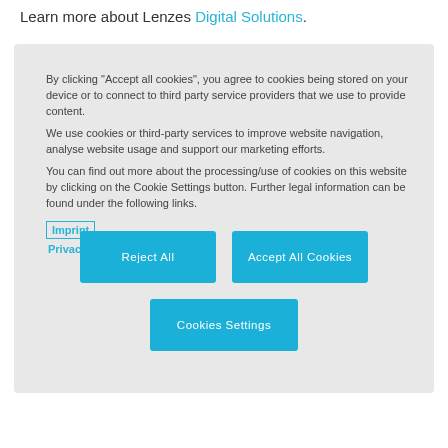Learn more about Lenzes Digital Solutions.
By clicking "Accept all cookies", you agree to cookies being stored on your device or to connect to third party service providers that we use to provide content.
We use cookies or third-party services to improve website navigation, analyse website usage and support our marketing efforts.
You can find out more about the processing/use of cookies on this website by clicking on the Cookie Settings button. Further legal information can be found under the following links.
Imprint
Privacy Policy